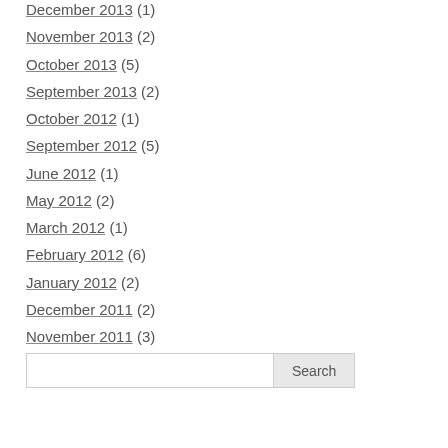December 2013 (1)
November 2013 (2)
October 2013 (5)
September 2013 (2)
October 2012 (1)
September 2012 (5)
June 2012 (1)
May 2012 (2)
March 2012 (1)
February 2012 (6)
January 2012 (2)
December 2011 (2)
November 2011 (3)